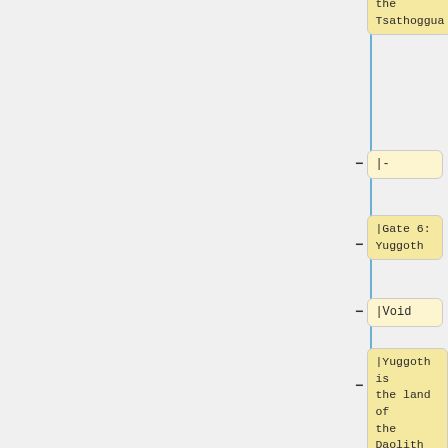|N'Kai is the land of the Tsathoggua
|-
|Gate 6: Yuggoth
|Void
|Yuggoth is the land of the Daolith
|-
|Gate 7: Aquae
|Void
|Aquan is